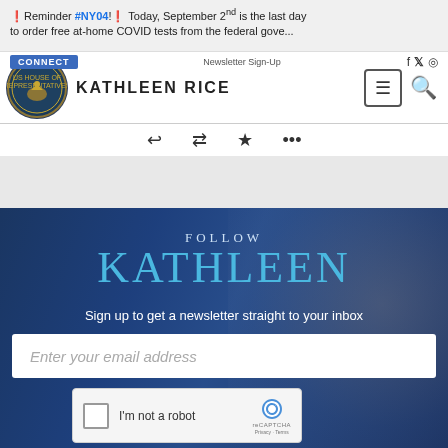❗Reminder #NY04!❗ Today, September 2nd, is the last day to order free at-home COVID tests from the federal gove...
[Figure (logo): US House of Representatives seal logo circle]
KATHLEEN RICE
CONNECT | Newsletter Sign-Up
FOLLOW KATHLEEN
Sign up to get a newsletter straight to your inbox
[Figure (screenshot): Email sign-up form with text field placeholder 'Enter your email address' and reCAPTCHA checkbox 'I'm not a robot']